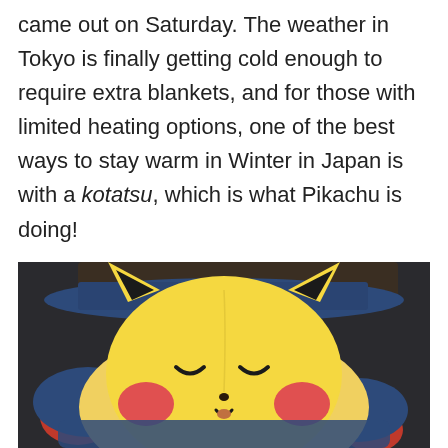came out on Saturday. The weather in Tokyo is finally getting cold enough to require extra blankets, and for those with limited heating options, one of the best ways to stay warm in Winter in Japan is with a kotatsu, which is what Pikachu is doing!
[Figure (photo): Photo of a Pikachu plush toy lying down under a kotatsu blanket, with closed eyes and red cheeks, appearing to be sleeping or resting.]